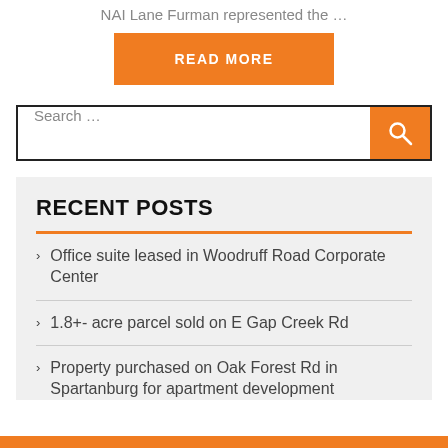NAI Lane Furman represented the …
READ MORE
Search …
RECENT POSTS
Office suite leased in Woodruff Road Corporate Center
1.8+- acre parcel sold on E Gap Creek Rd
Property purchased on Oak Forest Rd in Spartanburg for apartment development